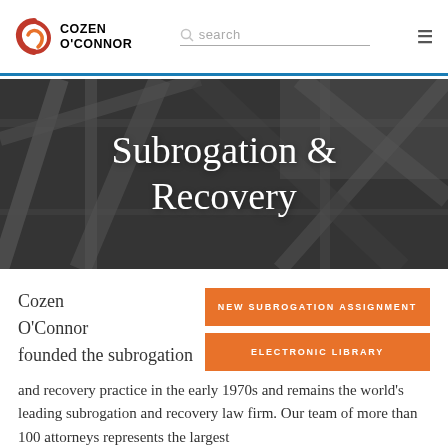Cozen O'Connor — search — menu
Subrogation & Recovery
Cozen O'Connor
NEW SUBROGATION ASSIGNMENT
ELECTRONIC LIBRARY
founded the subrogation and recovery practice in the early 1970s and remains the world's leading subrogation and recovery law firm. Our team of more than 100 attorneys represents the largest